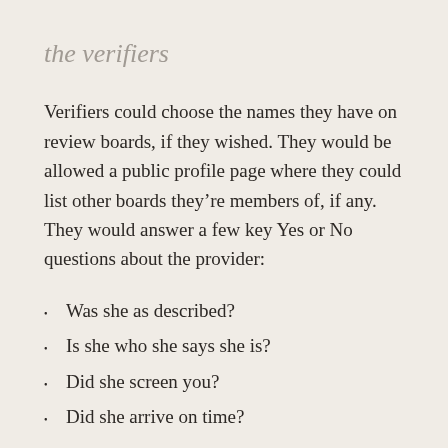the verifiers
Verifiers could choose the names they have on review boards, if they wished. They would be allowed a public profile page where they could list other boards they’re members of, if any. They would answer a few key Yes or No questions about the provider:
Was she as described?
Is she who she says she is?
Did she screen you?
Did she arrive on time?